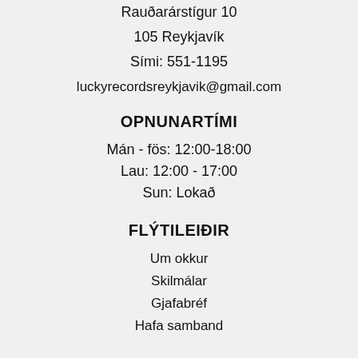Rauðarárstígur 10
105 Reykjavík
Sími: 551-1195
luckyrecordsreykjavik@gmail.com
OPNUNARTÍMI
Mán - fös: 12:00-18:00
Lau: 12:00 - 17:00
Sun: Lokað
FLÝTILEIÐIR
Um okkur
Skilmálar
Gjafabréf
Hafa samband